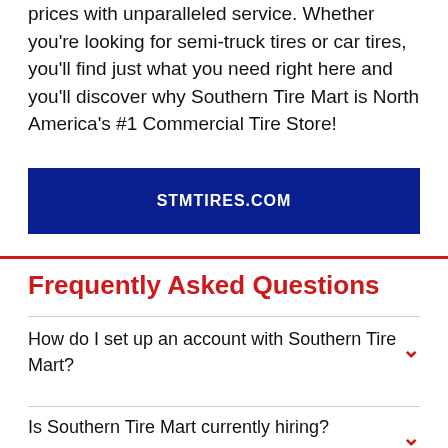prices with unparalleled service. Whether you're looking for semi-truck tires or car tires, you'll find just what you need right here and you'll discover why Southern Tire Mart is North America's #1 Commercial Tire Store!
STMTIRES.COM
Frequently Asked Questions
How do I set up an account with Southern Tire Mart?
Is Southern Tire Mart currently hiring?